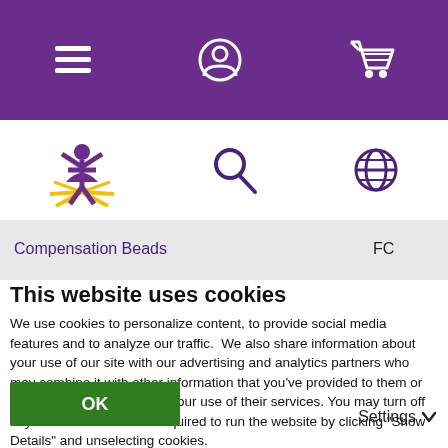[Figure (screenshot): Purple navigation bar with hamburger menu icon, user/account icon, and shopping cart icon in white]
[Figure (screenshot): White secondary navigation bar with a yellow/purple logo (person with sunburst), search magnifying glass icon, and globe/language icon]
| Compensation Beads | FC |
This website uses cookies
We use cookies to personalize content, to provide social media features and to analyze our traffic.  We also share information about your use of our site with our advertising and analytics partners who may combine it with other information that you've provided to them or that they've collected from your use of their services. You may turn off any cookies that are not required to run the website by clicking "Show Details" and unselecting cookies.
For more information on how we handle your personal data, view our Privacy Policy.
OK
Settings